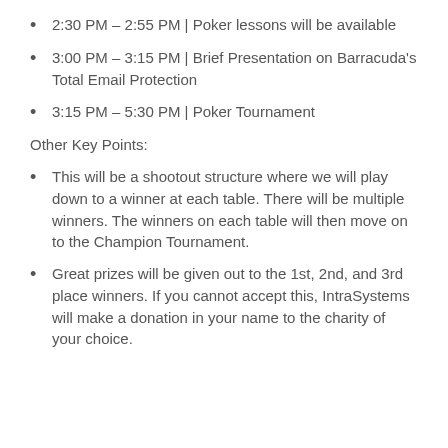2:30 PM – 2:55 PM | Poker lessons will be available
3:00 PM – 3:15 PM | Brief Presentation on Barracuda's Total Email Protection
3:15 PM – 5:30 PM | Poker Tournament
Other Key Points:
This will be a shootout structure where we will play down to a winner at each table. There will be multiple winners. The winners on each table will then move on to the Champion Tournament.
Great prizes will be given out to the 1st, 2nd, and 3rd place winners. If you cannot accept this, IntraSystems will make a donation in your name to the charity of your choice.